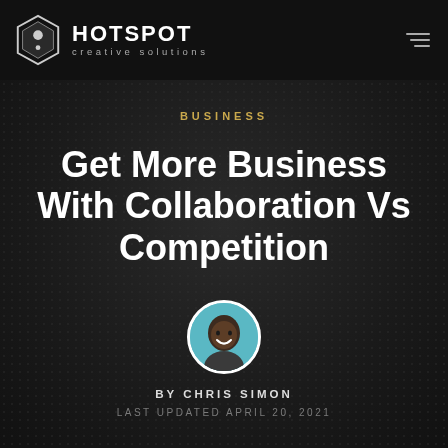HOTSPOT creative solutions
BUSINESS
Get More Business With Collaboration Vs Competition
[Figure (photo): Circular avatar photo of Chris Simon, a smiling Black man in a dark jacket against a light blue background]
BY CHRIS SIMON
LAST UPDATED APRIL 20, 2021